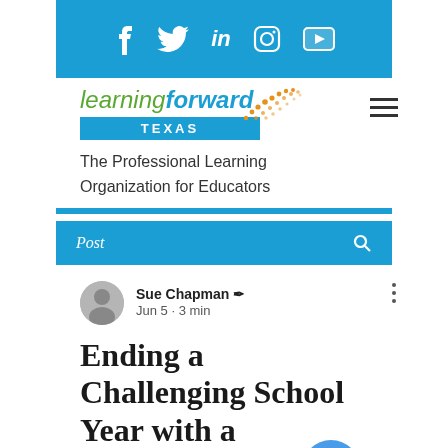[Figure (screenshot): Social media icon bar with Facebook, Twitter, LinkedIn, Instagram, YouTube icons on blue background]
[Figure (logo): Learning Forward Texas logo with orange dot arc decoration]
The Professional Learning Organization for Educators
Post
Sue Chapman
Jun 5 · 3 min
Ending a Challenging School Year with a Positive Vibe